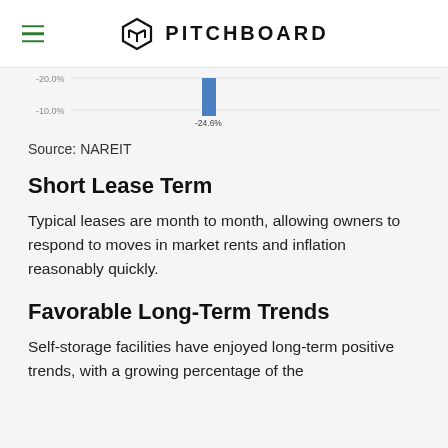PITCHBOARD
[Figure (bar-chart): Partial bar chart visible at top of page showing a value of -24.6%, with y-axis labels -20.0% and -10.0%]
Source: NAREIT
Short Lease Term
Typical leases are month to month, allowing owners to respond to moves in market rents and inflation reasonably quickly.
Favorable Long-Term Trends
Self-storage facilities have enjoyed long-term positive trends, with a growing percentage of the